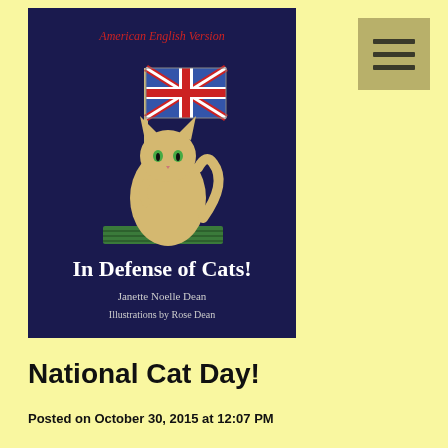[Figure (illustration): Book cover of 'In Defense of Cats!' showing a stylized cat holding a British Union Jack flag on a flagpole, standing on a green striped mat, against a dark navy background. Text at top reads 'American English Version' in red italics. Bottom reads 'In Defense of Cats!' in large white serif font, 'Janette Noelle Dean' and 'Illustrations by Rose Dean' below.]
[Figure (other): Hamburger menu icon button with three horizontal lines on a tan/olive colored square background, positioned in the top right corner.]
National Cat Day!
Posted on October 30, 2015 at 12:07 PM